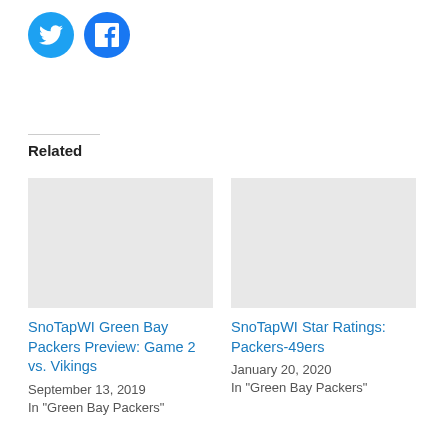[Figure (logo): Twitter social share button (blue circle with Twitter bird icon)]
[Figure (logo): Facebook social share button (blue circle with Facebook f icon)]
Related
SnoTapWI Green Bay Packers Preview: Game 2 vs. Vikings
September 13, 2019
In "Green Bay Packers"
SnoTapWI Star Ratings: Packers-49ers
January 20, 2020
In "Green Bay Packers"